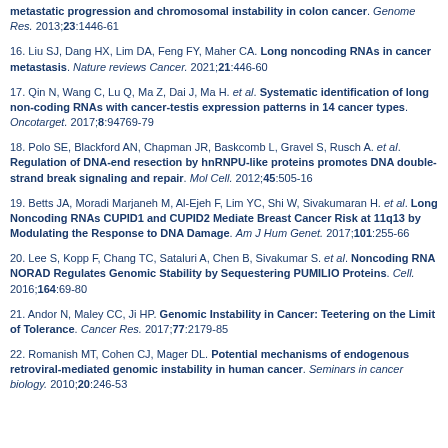metastatic progression and chromosomal instability in colon cancer. Genome Res. 2013;23:1446-61
16. Liu SJ, Dang HX, Lim DA, Feng FY, Maher CA. Long noncoding RNAs in cancer metastasis. Nature reviews Cancer. 2021;21:446-60
17. Qin N, Wang C, Lu Q, Ma Z, Dai J, Ma H. et al. Systematic identification of long non-coding RNAs with cancer-testis expression patterns in 14 cancer types. Oncotarget. 2017;8:94769-79
18. Polo SE, Blackford AN, Chapman JR, Baskcomb L, Gravel S, Rusch A. et al. Regulation of DNA-end resection by hnRNPU-like proteins promotes DNA double-strand break signaling and repair. Mol Cell. 2012;45:505-16
19. Betts JA, Moradi Marjaneh M, Al-Ejeh F, Lim YC, Shi W, Sivakumaran H. et al. Long Noncoding RNAs CUPID1 and CUPID2 Mediate Breast Cancer Risk at 11q13 by Modulating the Response to DNA Damage. Am J Hum Genet. 2017;101:255-66
20. Lee S, Kopp F, Chang TC, Sataluri A, Chen B, Sivakumar S. et al. Noncoding RNA NORAD Regulates Genomic Stability by Sequestering PUMILIO Proteins. Cell. 2016;164:69-80
21. Andor N, Maley CC, Ji HP. Genomic Instability in Cancer: Teetering on the Limit of Tolerance. Cancer Res. 2017;77:2179-85
22. Romanish MT, Cohen CJ, Mager DL. Potential mechanisms of endogenous retroviral-mediated genomic instability in human cancer. Seminars in cancer biology. 2010;20:246-53